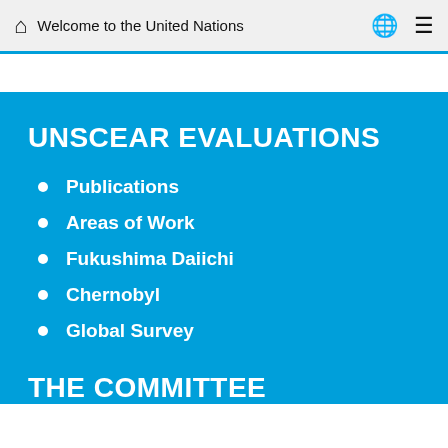Welcome to the United Nations
UNSCEAR EVALUATIONS
Publications
Areas of Work
Fukushima Daiichi
Chernobyl
Global Survey
THE COMMITTEE